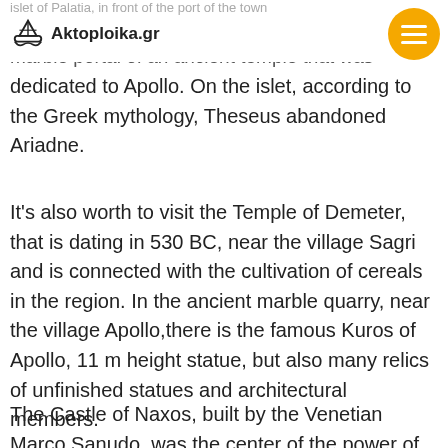Aktoploika.gr
marble portal of an ancient temple that was dedicated to Apollo. On the islet, according to the Greek mythology, Theseus abandoned Ariadne.
It's also worth to visit the Temple of Demeter, that is dating in 530 BC, near the village Sagri and is connected with the cultivation of cereals in the region. In the ancient marble quarry, near the village Apollo,there is the famous Kuros of Apollo, 11 m height statue, but also many relics of unfinished statues and architectural members.
The Castle of Naxos, built by the Venetian Marco Sanudo, was the center of the power of the island